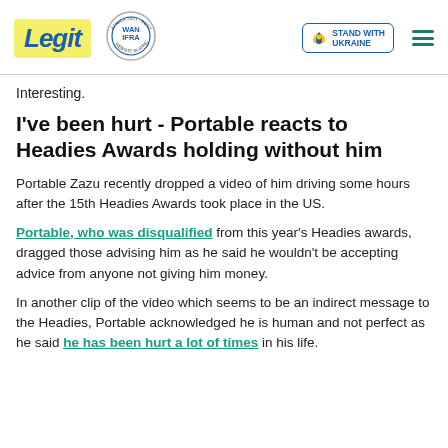Legit | WAN IFRA 2021 Best News Website in Africa | Stand with Ukraine
Interesting.
I've been hurt - Portable reacts to Headies Awards holding without him
Portable Zazu recently dropped a video of him driving some hours after the 15th Headies Awards took place in the US.
Portable, who was disqualified from this year's Headies awards, dragged those advising him as he said he wouldn't be accepting advice from anyone not giving him money.
In another clip of the video which seems to be an indirect message to the Headies, Portable acknowledged he is human and not perfect as he said he has been hurt a lot of times in his life.